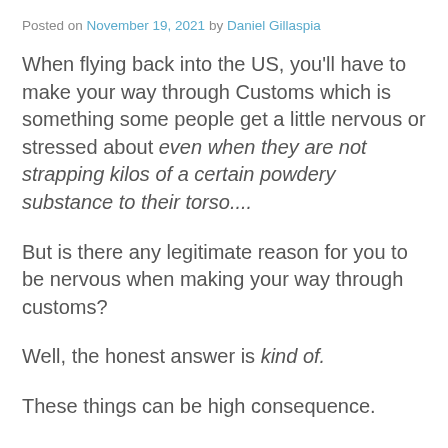Posted on November 19, 2021 by Daniel Gillaspia
When flying back into the US, you'll have to make your way through Customs which is something some people get a little nervous or stressed about even when they are not strapping kilos of a certain powdery substance to their torso....
But is there any legitimate reason for you to be nervous when making your way through customs?
Well, the honest answer is kind of.
These things can be high consequence.